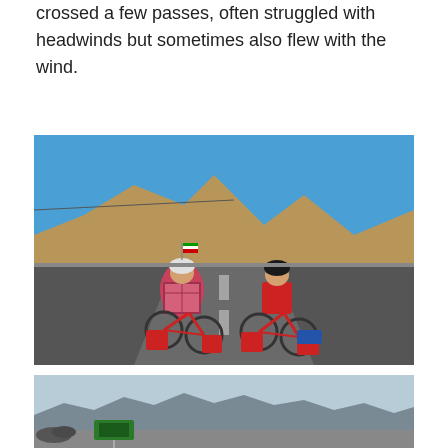crossed a few passes, often struggled with headwinds but sometimes also flew with the wind.
[Figure (photo): Two cyclists with heavily loaded touring bikes stopped on a desert road in Iran. Mountains in background, blue sky. The cyclist on the left wears a plaid shirt and hijab with a small flag, the one on the right wears a red shirt. Both wear helmets.]
[Figure (photo): Partial view of a desert landscape with distant mountains under a hazy blue sky, with what appears to be a road sign in the lower portion.]